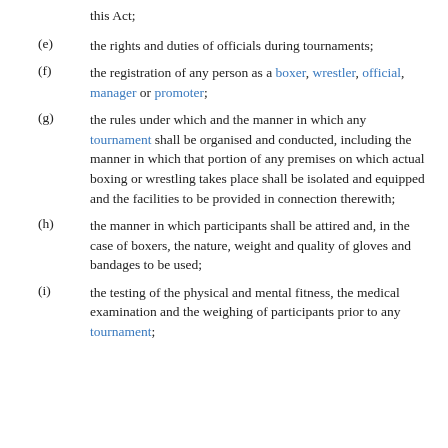this Act;
(e) the rights and duties of officials during tournaments;
(f) the registration of any person as a boxer, wrestler, official, manager or promoter;
(g) the rules under which and the manner in which any tournament shall be organised and conducted, including the manner in which that portion of any premises on which actual boxing or wrestling takes place shall be isolated and equipped and the facilities to be provided in connection therewith;
(h) the manner in which participants shall be attired and, in the case of boxers, the nature, weight and quality of gloves and bandages to be used;
(i) the testing of the physical and mental fitness, the medical examination and the weighing of participants prior to any tournament;